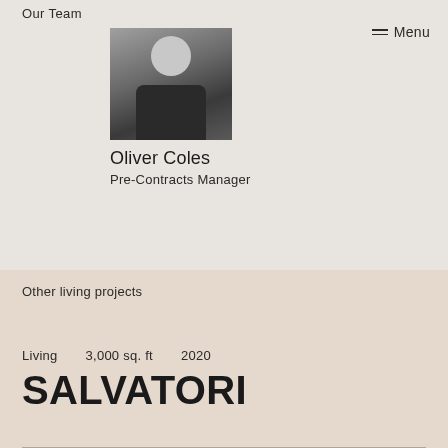Our Team
Menu
[Figure (photo): Black and white photo of Oliver Coles, a man in a dark shirt, smiling, with framed pictures on the wall behind him.]
Oliver Coles
Pre-Contracts Manager
Other living projects
Living     3,000 sq. ft     2020
SALVATORI